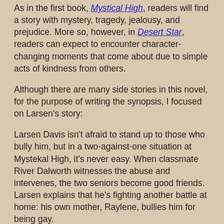As in the first book, Mystical High, readers will find a story with mystery, tragedy, jealousy, and prejudice. More so, however, in Desert Star, readers can expect to encounter character-changing moments that come about due to simple acts of kindness from others.
Although there are many side stories in this novel, for the purpose of writing the synopsis, I focused on Larsen's story:
Larsen Davis isn't afraid to stand up to those who bully him, but in a two-against-one situation at Mystekal High, it's never easy. When classmate River Dalworth witnesses the abuse and intervenes, the two seniors become good friends. Larsen explains that he's fighting another battle at home: his own mother, Raylene, bullies him for being gay.